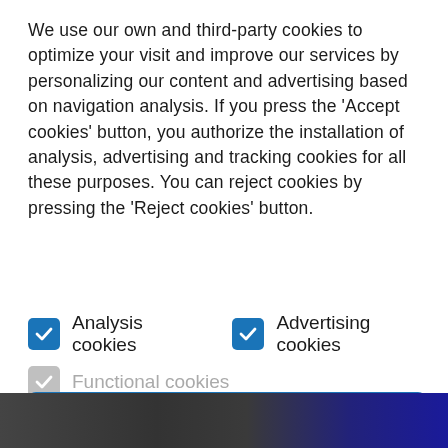We use our own and third-party cookies to optimize your visit and improve our services by personalizing our content and advertising based on navigation analysis. If you press the 'Accept cookies' button, you authorize the installation of analysis, advertising and tracking cookies for all these purposes. You can reject cookies by pressing the 'Reject cookies' button.
Analysis cookies [checked]
Advertising cookies [checked]
Functional cookies [disabled/checked]
ACCEPT COOKIES
REJECT COOKIES
[Figure (photo): Partial view of a dark background image strip at the bottom of the page, showing what appears to be a car interior or dashboard scene with blue circular element.]